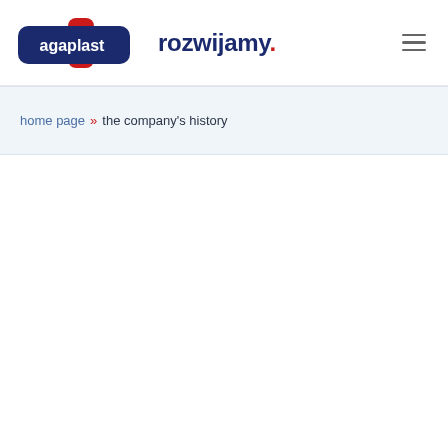[Figure (logo): Agaplast logo with blue rounded rectangle, red cross/plus shape, white text 'agaplast', followed by dark blue text 'rozwijamy.' with red dot]
home page » the company's history